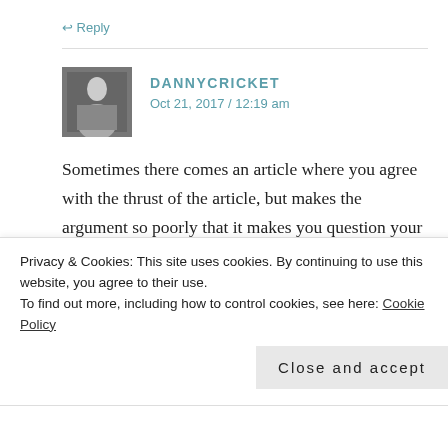↩ Reply
DANNYCRICKET
Oct 21, 2017 / 12:19 am
Sometimes there comes an article where you agree with the thrust of the article, but makes the argument so poorly that it makes you question your own views. This is such an article for me. I love Test cricket. Absolutely love it. I believe it, and first class cricket, should be a lot more popular than it is. That
Privacy & Cookies: This site uses cookies. By continuing to use this website, you agree to their use.
To find out more, including how to control cookies, see here: Cookie Policy
Close and accept